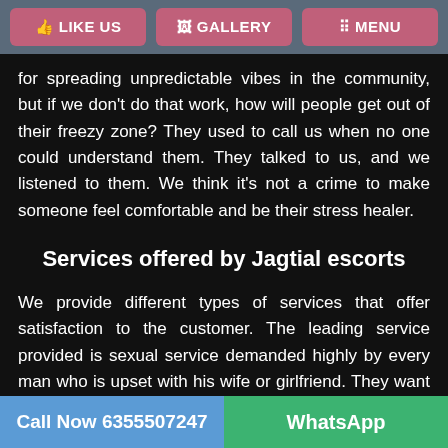LIKE US | GALLERY | MENU
for spreading unpredictable vibes in the community, but if we don't do that work, how will people get out of their freezy zone? They used to call us when no one could understand them. They talked to us, and we listened to them. We think it's not a crime to make someone feel comfortable and be their stress healer.
Services offered by Jagtial escorts
We provide different types of services that offer satisfaction to the customer. The leading service provided is sexual service demanded highly by every man who is upset with his wife or girlfriend. They want to have fun in their lives that are not available in their homes; thus, they visit us, and we provide them with that amount of satisfaction. Every man who wants entertainment sees
Call Now 6355507247 | WhatsApp